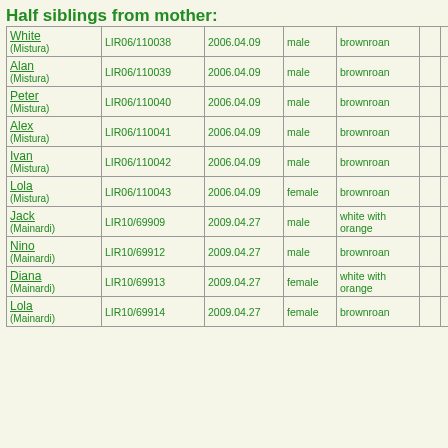Half siblings from mother:
| Name | Reg | Date | Sex | Color |  |  |
| --- | --- | --- | --- | --- | --- | --- |
| White (Mistura) | LIR06/110038 | 2006.04.09 | male | brownroan |  |  |
| Alan (Mistura) | LIR06/110039 | 2006.04.09 | male | brownroan |  |  |
| Peter (Mistura) | LIR06/110040 | 2006.04.09 | male | brownroan |  |  |
| Alex (Mistura) | LIR06/110041 | 2006.04.09 | male | brownroan |  |  |
| Ivan (Mistura) | LIR06/110042 | 2006.04.09 | male | brownroan |  |  |
| Lola (Mistura) | LIR06/110043 | 2006.04.09 | female | brownroan |  |  |
| Jack (Mainardi) | LIR10/69909 | 2009.04.27 | male | white with orange |  |  |
| Nino (Mainardi) | LIR10/69912 | 2009.04.27 | male | brownroan |  |  |
| Diana (Mainardi) | LIR10/69913 | 2009.04.27 | female | white with orange |  |  |
| Lola (Mainardi) | LIR10/69914 | 2009.04.27 | female | brownroan |  |  |